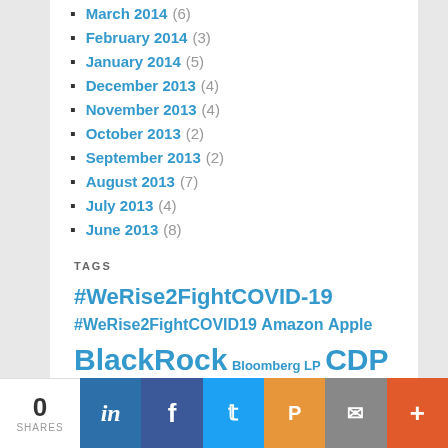March 2014 (6)
February 2014 (3)
January 2014 (5)
December 2013 (4)
November 2013 (4)
October 2013 (2)
September 2013 (2)
August 2013 (7)
July 2013 (4)
June 2013 (8)
TAGS
#WeRise2FightCOVID-19 #WeRise2FightCOVID19 Amazon Apple BlackRock Bloomberg LP CDP Ceres climate change Corporate governance Corporate Purpose - Virus Crisis ESG EU